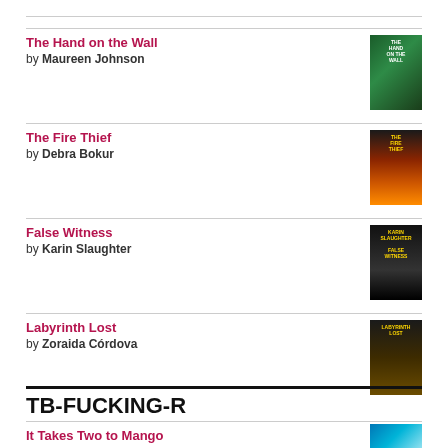The Hand on the Wall by Maureen Johnson
[Figure (photo): Book cover: The Hand on the Wall by Maureen Johnson, dark green cover]
The Fire Thief by Debra Bokur
[Figure (photo): Book cover: The Fire Thief by Debra Bokur, dark fiery cover]
False Witness by Karin Slaughter
[Figure (photo): Book cover: False Witness by Karin Slaughter, dark atmospheric cover]
Labyrinth Lost by Zoraida Córdova
[Figure (photo): Book cover: Labyrinth Lost by Zoraida Córdova]
TB-FUCKING-R
It Takes Two to Mango
[Figure (photo): Book cover: It Takes Two to Mango, blue cover]